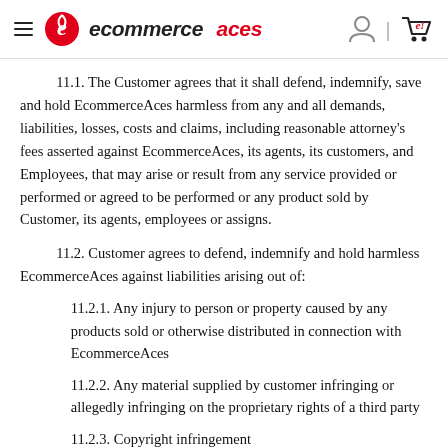ecommerce aces
11.1. The Customer agrees that it shall defend, indemnify, save and hold EcommerceAces harmless from any and all demands, liabilities, losses, costs and claims, including reasonable attorney's fees asserted against EcommerceAces, its agents, its customers, and Employees, that may arise or result from any service provided or performed or agreed to be performed or any product sold by Customer, its agents, employees or assigns.
11.2. Customer agrees to defend, indemnify and hold harmless EcommerceAces against liabilities arising out of:
11.2.1. Any injury to person or property caused by any products sold or otherwise distributed in connection with EcommerceAces
11.2.2. Any material supplied by customer infringing or allegedly infringing on the proprietary rights of a third party
11.2.3. Copyright infringement
11.2.4. Any defective products sold to customers from the Services